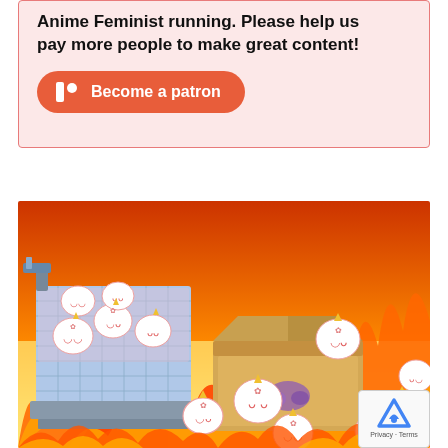Anime Feminist running. Please help us pay more people to make great content!
[Figure (other): Patreon 'Become a patron' button with red pill-shaped background and Patreon logo icon]
[Figure (illustration): Anime-style illustration showing cute round white cat-like characters (Chiikawa or similar) in a scene with fire, boxes, and a blue tiled container. The background is orange and yellow flames. Some characters are in a cardboard box, others are scattered around in the fire.]